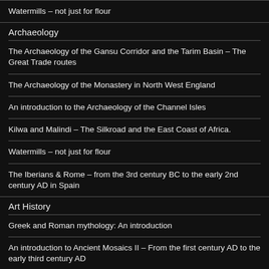Watermills – not just for flour
Archaeology
The Archaeology of the Gansu Corridor and the Tarim Basin – The Great Trade routes
The Archaeology of the Monastery in North West England
An introduction to the Archaeology of the Channel Isles
Kilwa and Malindi – The Silkroad and the East Coast of Africa.
Watermills – not just for flour
The Iberians & Rome – from the 3rd century BC to the early 2nd century AD in Spain
Art History
Greek and Roman mythology: An introduction
An introduction to Ancient Mosaics II – From the first century AD to the early third century AD